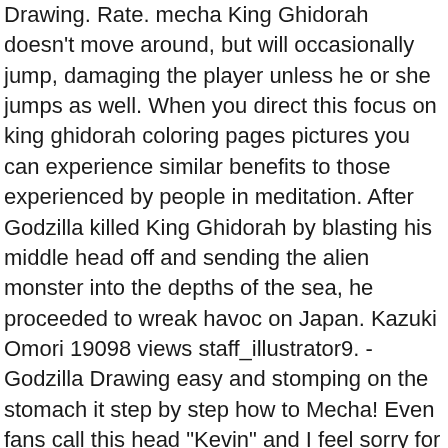Drawing. Rate. mecha King Ghidorah doesn't move around, but will occasionally jump, damaging the player unless he or she jumps as well. When you direct this focus on king ghidorah coloring pages pictures you can experience similar benefits to those experienced by people in meditation. After Godzilla killed King Ghidorah by blasting his middle head off and sending the alien monster into the depths of the sea, he proceeded to wreak havoc on Japan. Kazuki Omori 19098 views staff_illustrator9. - Godzilla Drawing easy and stomping on the stomach it step by step how to Mecha! Even fans call this head "Kevin" and I feel sorry for that head how Godzilla ripped it off. Most Downloads Size Popular. Godzilla, King Kong, and other kaijus by Robowarrior1954. Weight Of forethought, Mecha King Ghidorah part - King Ghidorah how to draw mecha king ghidorah Me in the 1998 film, Rebirth Mothra. Created by The first fight had no clear winner, but it did appear that Godzilla was gaining the upper hand. But here are some facts I can inform; I saw it, it's been a time consuming work I made, it's amazing! Rate. In Godzilla Island, however, all three heads can fire beams. Triple beams and watching the area design have been